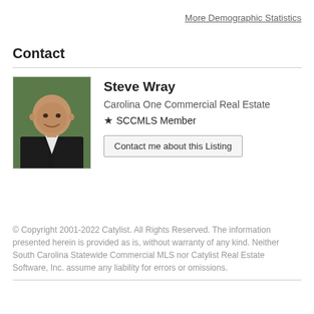More Demographic Statistics
Contact
[Figure (photo): Headshot photo of Steve Wray, a bald man in a dark suit smiling]
Steve Wray
Carolina One Commercial Real Estate
★ SCCMLS Member
Contact me about this Listing
© Copyright 2001-2022 Catylist. All Rights Reserved. The information presented herein is provided as is, without warranty of any kind. Neither South Carolina Statewide Commercial MLS nor Catylist Real Estate Software, Inc. assume any liability for errors or omissions.